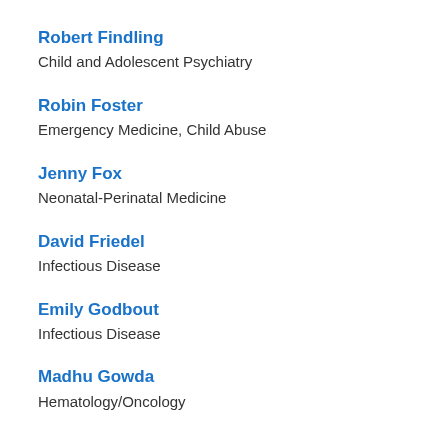Robert Findling
Child and Adolescent Psychiatry
Robin Foster
Emergency Medicine, Child Abuse
Jenny Fox
Neonatal-Perinatal Medicine
David Friedel
Infectious Disease
Emily Godbout
Infectious Disease
Madhu Gowda
Hematology/Oncology